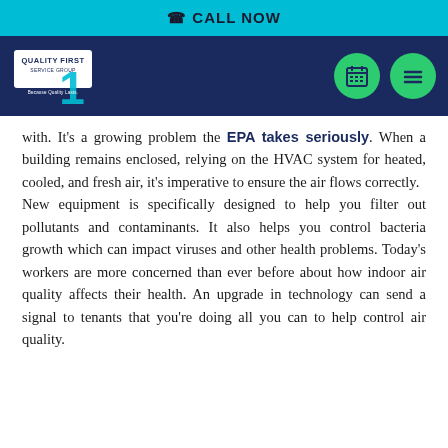CALL NOW
[Figure (logo): Quality First Service Group logo with number 1 and tagline 'Because Quality Lasts.' on navy background, with green circle calendar and menu icons]
with. It's a growing problem the EPA takes seriously. When a building remains enclosed, relying on the HVAC system for heated, cooled, and fresh air, it's imperative to ensure the air flows correctly.
New equipment is specifically designed to help you filter out pollutants and contaminants. It also helps you control bacteria growth which can impact viruses and other health problems. Today's workers are more concerned than ever before about how indoor air quality affects their health. An upgrade in technology can send a signal to tenants that you're doing all you can to help control air quality.